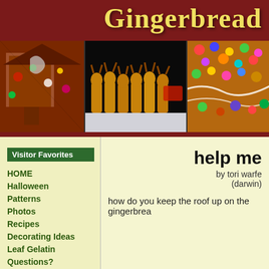Gingerbread
[Figure (photo): Three gingerbread-themed photos: decorated gingerbread house with colorful candies, gingerbread reindeer cookies standing in a row on black background, and close-up of gingerbread decorated with colorful candies and icing]
Visitor Favorites
HOME
Halloween
Patterns
Photos
Recipes
Decorating Ideas
Leaf Gelatin
Questions?
help me
by tori warfe
(darwin)
how do you keep the roof up on the gingerbrea